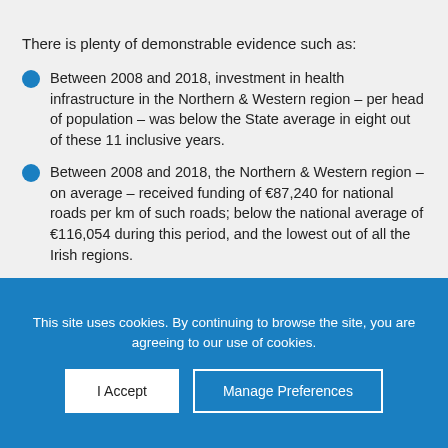There is plenty of demonstrable evidence such as:
Between 2008 and 2018, investment in health infrastructure in the Northern & Western region – per head of population – was below the State average in eight out of these 11 inclusive years.
Between 2008 and 2018, the Northern & Western region – on average – received funding of €87,240 for national roads per km of such roads; below the national average of €116,054 during this period, and the lowest out of all the Irish regions.
Between 2008 and 2018, Higher Education Institutes operating in the Northern & Western
This site uses cookies. By continuing to browse the site, you are agreeing to our use of cookies.